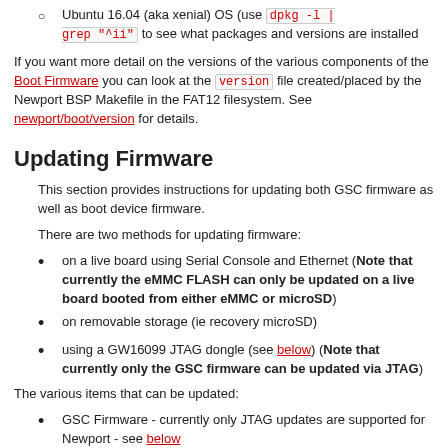Ubuntu 16.04 (aka xenial) OS (use dpkg -l | grep "^ii" to see what packages and versions are installed
If you want more detail on the versions of the various components of the Boot Firmware you can look at the version file created/placed by the Newport BSP Makefile in the FAT12 filesystem. See newport/boot/version for details.
Updating Firmware
This section provides instructions for updating both GSC firmware as well as boot device firmware.
There are two methods for updating firmware:
on a live board using Serial Console and Ethernet (Note that currently the eMMC FLASH can only be updated on a live board booted from either eMMC or microSD)
on removable storage (ie recovery microSD)
using a GW16099 JTAG dongle (see below) (Note that currently only the GSC firmware can be updated via JTAG)
The various items that can be updated:
GSC Firmware - currently only JTAG updates are supported for Newport - see below